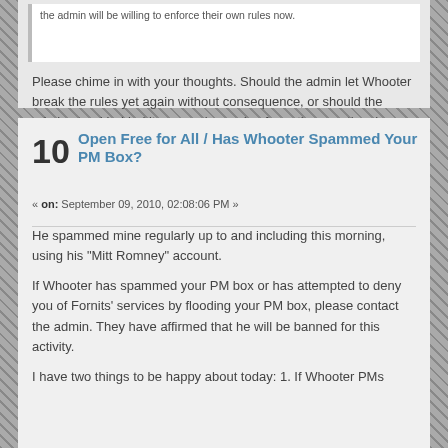the admin will be willing to enforce their own rules now.
Please chime in with your thoughts.  Should the admin let Whooter break the rules yet again without consequence, or should the admin stand behind its new rules and enforce them as they have said they would?
10  Open Free for All / Has Whooter Spammed Your PM Box?
« on: September 09, 2010, 02:08:06 PM »
He spammed mine regularly up to and including this morning, using his "Mitt Romney" account.
If Whooter has spammed your PM box or has attempted to deny you of Fornits' services by flooding your PM box, please contact the admin.  They have affirmed that he will be banned for this activity.
I have two things to be happy about today: 1.  If Whooter PMs